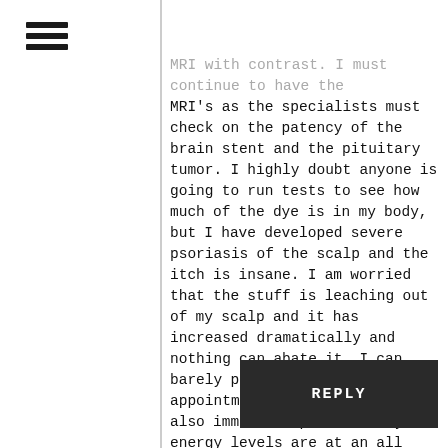☰
MRI with contrast. I must continue to have the MRI's as the specialists must check on the patency of the brain stent and the pituitary tumor. I highly doubt anyone is going to run tests to see how much of the dye is in my body, but I have developed severe psoriasis of the scalp and the itch is insane. I am worried that the stuff is leaching out of my scalp and it has increased dramatically and nothing can abate it. I can barely pull myself to the appointment tomorrow and am also immune compromised. My energy levels are at an all time low. Can I get some advice please, the contrast is not just a simple injection. I get cannulated and it is set up in a large device like a mini rocket ship and when I am told it will be happening, it starts to run into my veins. Thanks in advance, for any advice re: where can I get tested and what tests are required?